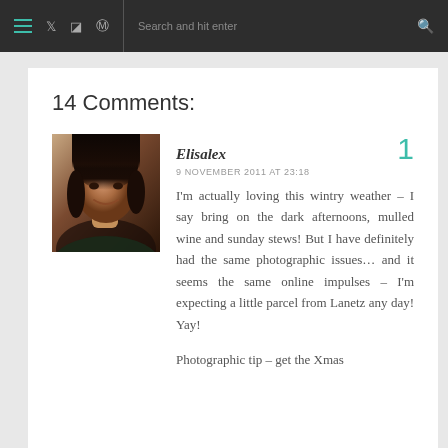≡  𝕏  📷  ℗  |  Search and hit enter  🔍
14 Comments:
[Figure (photo): Avatar photo of commenter Elisalex, a woman with dark hair smiling]
Elisalex
9 NOVEMBER 2011 AT 23:18
I'm actually loving this wintry weather – I say bring on the dark afternoons, mulled wine and sunday stews! But I have definitely had the same photographic issues… and it seems the same online impulses – I'm expecting a little parcel from Lanetz any day! Yay!

Photographic tip – get the Xmas